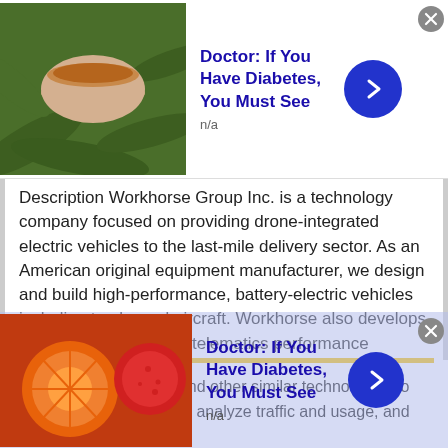[Figure (screenshot): Top advertisement banner: image of tea/herb bowl on green leaves, title 'Doctor: If You Have Diabetes, You Must See', subtitle 'n/a', blue arrow button, grey close button]
Description Workhorse Group Inc. is a technology company focused on providing drone-integrated electric vehicles to the last-mile delivery sector. As an American original equipment manufacturer, we design and build high-performance, battery-electric vehicles including trucks and aircraft. Workhorse also develops cloud-based, real-time telematics performance monitoring systems that are fully integrated with our vehicles and enable fleet operators to optimize energy and route efficiency. All Workhorse ... more
This site uses cookies and other similar technologies to provide site functionality, analyze traffic and usage, and
[Figure (screenshot): Bottom advertisement banner: image of orange/red fruits, title 'Doctor: If You Have Diabetes, You Must See', subtitle 'n/a', blue arrow button, grey close button, semi-transparent blue overlay]